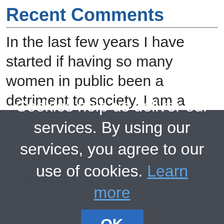Recent Comments
In the last few years I have started if having so many women in public been a detriment to society. I am a
[Figure (screenshot): Cookie consent overlay dialog with dark semi-transparent background. Text reads: 'Cookies help us deliver our services. By using our services, you agree to our use of cookies. Learn more' with an OK button.]
that also positions you are no way in mind I next